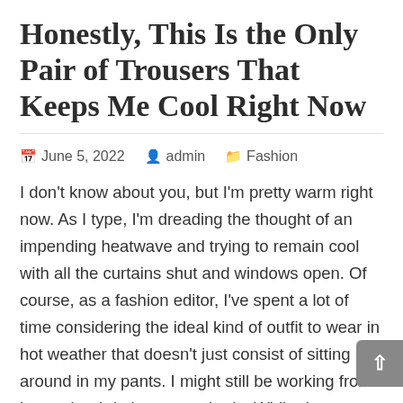Honestly, This Is the Only Pair of Trousers That Keeps Me Cool Right Now
June 5, 2022  admin  Fashion
I don't know about you, but I'm pretty warm right now. As I type, I'm dreading the thought of an impending heatwave and trying to remain cool with all the curtains shut and windows open. Of course, as a fashion editor, I've spent a lot of time considering the ideal kind of outfit to wear in hot weather that doesn't just consist of sitting around in my pants. I might still be working from home, but I do have standards. While dresses are great and all that, and absolutely should be kept in your heatwave-dressing arsenal, I think there's one item that you don't want to overlook when it's warm: linen trousers and, in particular, wide-leg linen